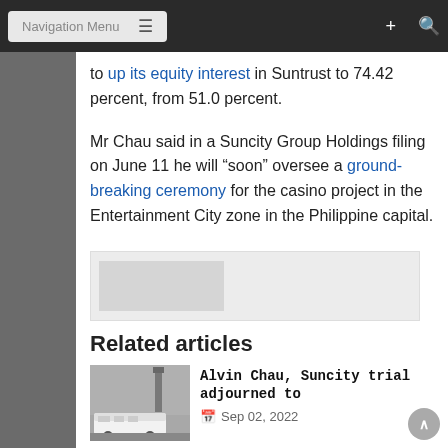Navigation Menu
to up its equity interest in Suntrust to 74.42 percent, from 51.0 percent.
Mr Chau said in a Suncity Group Holdings filing on June 11 he will “soon” oversee a ground-breaking ceremony for the casino project in the Entertainment City zone in the Philippine capital.
[Figure (other): Advertisement banner placeholder]
Related articles
[Figure (photo): Image of a white bus with a tower in background]
Alvin Chau, Suncity trial adjourned to
Sep 02, 2022